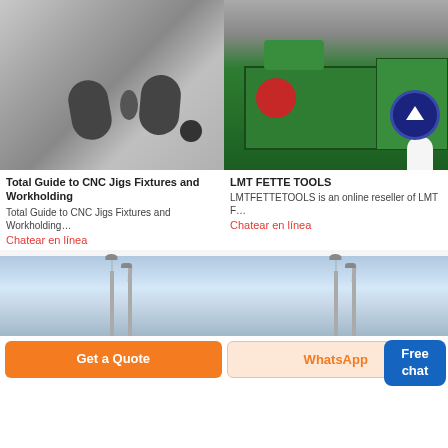[Figure (photo): CNC jig or workholding fixture component, gray metal plate with machined holes]
[Figure (photo): LMT Fette Tools industrial green machinery in a warehouse with a female assistant icon and Free chat bubble overlay]
Total Guide to CNC Jigs Fixtures and Workholding
Total Guide to CNC Jigs Fixtures and Workholding…
Chatear en línea
LMT FETTE TOOLS
LMTFETTETOOLS is an online reseller of LMT F…
Chatear en línea
[Figure (photo): Street lamp pole against a light blue sky]
[Figure (photo): Street lamp pole against a light blue sky]
Get a Quote
WhatsApp